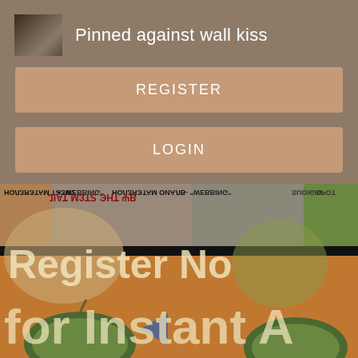[Figure (screenshot): Small thumbnail image showing people in a dark scene]
Pinned against wall kiss
REGISTER
LOGIN
CONTACT US
[Figure (photo): Bottom portion showing a promotional image with watermelons and upside-down text about webbing, BLAND WATERMELON, SWEET WATERMELON, and overlay text reading 'Register Now for Instant A']